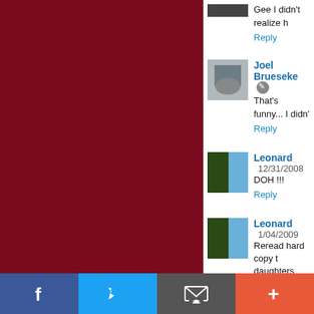[Figure (illustration): Dark red/maroon background panel on the left side of the page]
Gee I didn't realize h
Reply
Joel Brueseke [edit icon]
That's funny... I didn'
Reply
Leonard  12/31/2008
DOH !!!
Reply
Leonard  1/04/2009
Reread hard copy t daughters best birthd Best Leonard
[Figure (infographic): Social sharing bar at bottom: Facebook (blue), Twitter (light blue), Email (gray), More/Plus (orange-red)]